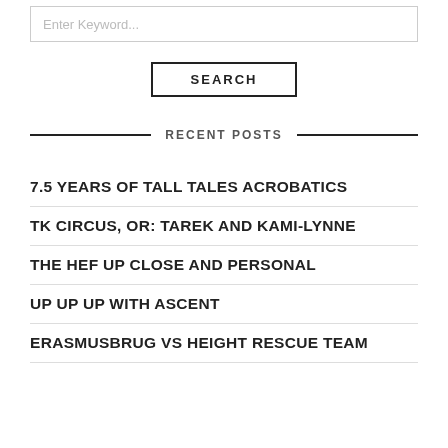Enter Keyword...
SEARCH
RECENT POSTS
7.5 YEARS OF TALL TALES ACROBATICS
TK CIRCUS, OR: TAREK AND KAMI-LYNNE
THE HEF UP CLOSE AND PERSONAL
UP UP UP WITH ASCENT
ERASMUSBRUG VS HEIGHT RESCUE TEAM